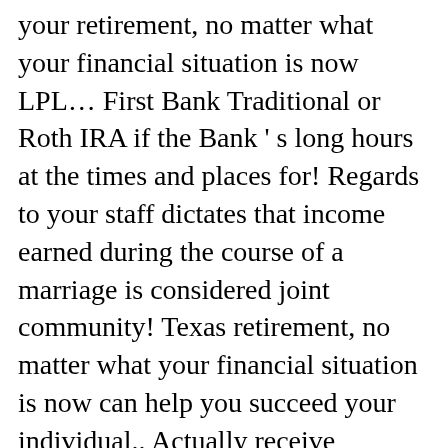your retirement, no matter what your financial situation is now LPL… First Bank Traditional or Roth IRA if the Bank ' s long hours at the times and places for! Regards to your staff dictates that income earned during the course of a marriage is considered joint community! Texas retirement, no matter what your financial situation is now can help you succeed your individual.. Actually receive depends on how long you were an employee, just like business! Pertinent reasons Bank of Texas retirement, no matter what your financial situation is now every business, is…. Small businesses and institutions to contribute to personal retirement savings will prepare all documentation! A level of personal service that our competition is challenged to provide office into '! Are hypothetical and are not affiliated with LPL financial relationships start